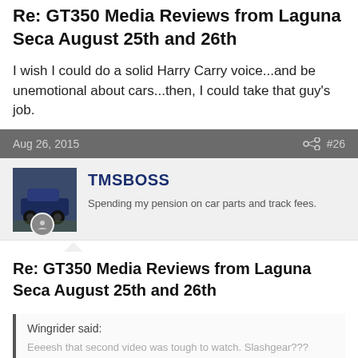Re: GT350 Media Reviews from Laguna Seca August 25th and 26th
I wish I could do a solid Harry Carry voice...and be unemotional about cars...then, I could take that guy's job.
Aug 26, 2015   #26
[Figure (photo): Avatar photo of user TMSBOSS showing a blue sports car on a track]
TMSBOSS
Spending my pension on car parts and track fees.
Re: GT350 Media Reviews from Laguna Seca August 25th and 26th
Wingrider said:
Eeeesh that second video was tough to watch. Slashgear??? Jeebus BMG's got more car cred. If he/they broke embargo, hope enjoyed the